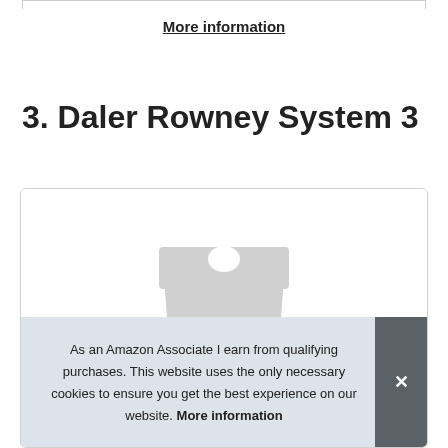More information
3. Daler Rowney System 3
[Figure (photo): Product image of Daler Rowney System 3 paint set in grey packaging with hang tab, partially visible]
As an Amazon Associate I earn from qualifying purchases. This website uses the only necessary cookies to ensure you get the best experience on our website. More information